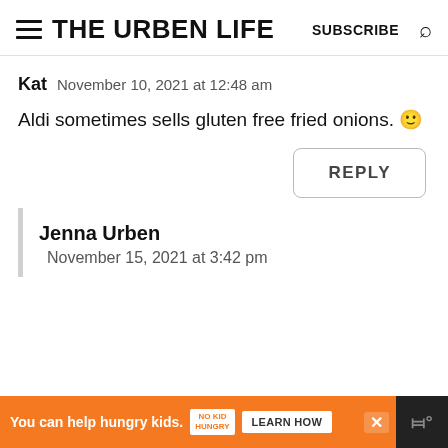THE URBEN LIFE  SUBSCRIBE
Kat  November 10, 2021 at 12:48 am
Aldi sometimes sells gluten free fried onions. 🙂
REPLY
Jenna Urben
November 15, 2021 at 3:42 pm
[Figure (screenshot): Orange advertisement banner: 'You can help hungry kids. NO KID HUNGRY  LEARN HOW' with a close button and dark section on the right.]